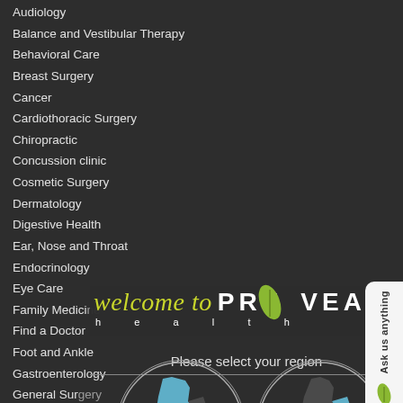Audiology
Balance and Vestibular Therapy
Behavioral Care
Breast Surgery
Cancer
Cardiothoracic Surgery
Chiropractic
Concussion clinic
Cosmetic Surgery
Dermatology
Digestive Health
Ear, Nose and Throat
Endocrinology
Eye Care
Family Medicine
Find a Doctor
Foot and Ankle
Gastroenterology
General Surgery
[Figure (screenshot): Prevea Health website welcome overlay showing 'welcome to PREVEA health' branding with region selection dialog. Two circular Wisconsin state maps labeled 'WESTERN WISCONSIN' and 'EASTERN WISCONSIN'. An 'Ask us anything' sidebar tab is visible on the right.]